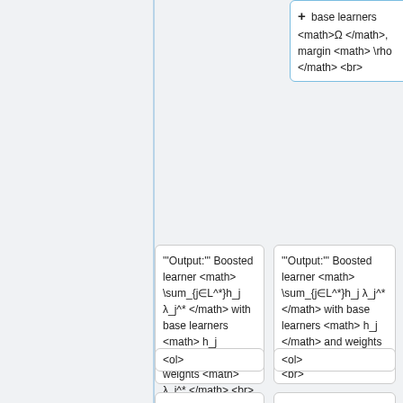+ base learners <math>Ω </math>, margin <math> \rho </math> <br>
'''Output:''' Boosted learner <math> \sum_{j∈L^*}h_j λ_j^* </math> with base learners <math> h_j </math> and weights <math> λ_j^* </math> <br>
'''Output:''' Boosted learner <math> \sum_{j∈L^*}h_j λ_j^* </math> with base learners <math> h_j </math> and weights <math> λ_j^* </math> <br>
<ol>
<ol>